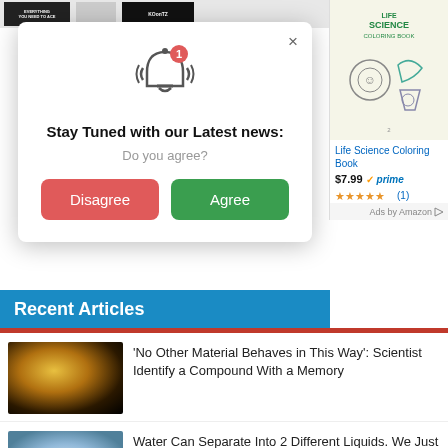[Figure (screenshot): Top navigation bar with book cover thumbnails including 'Everything You Need to Ace', a gray book, and 'KOONTZ']
[Figure (screenshot): Modal popup with bell notification icon, title 'Stay Tuned with our Latest news:', subtitle 'Do you agree?', and two buttons: red 'Disagree' and green 'Agree']
[Figure (screenshot): Amazon advertisement showing Life Science Coloring Book cover]
Life Science Coloring Book
$7.99 ✓prime
★★★★★ (1)
Ads by Amazon
Recent Articles
'No Other Material Behaves in This Way': Scientist Identify a Compound With a Memory
Water Can Separate Into 2 Different Liquids. We Just Got Closer to Knowing Why
Your Body Won't Be The Same by The Time You Get